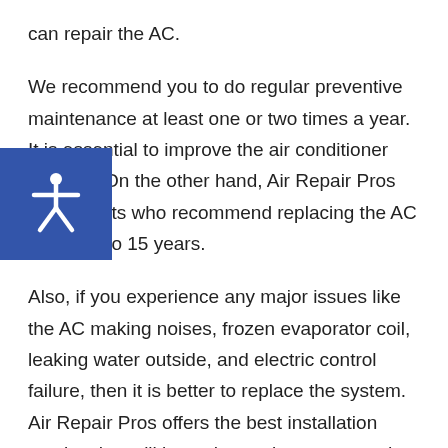can repair the AC.
We recommend you to do regular preventive maintenance at least one or two times a year. It is essential to improve the air conditioner lifespan. On the other hand, Air Repair Pros has experts who recommend replacing the AC every 10 to 15 years.
Also, if you experience any major issues like the AC making noises, frozen evaporator coil, leaking water outside, and electric control failure, then it is better to replace the system. Air Repair Pros offers the best installation service that will keep the equipment up and running for many years and improve the air conditioner lifespan. Contact Air Repair Pros to